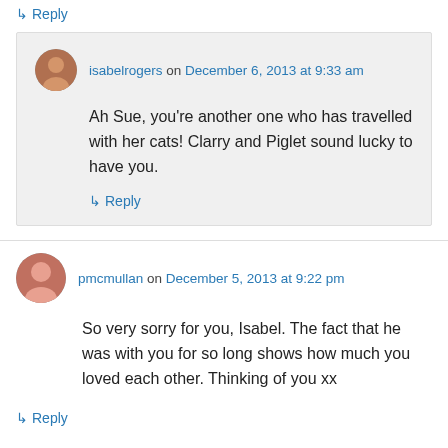↳ Reply
isabelrogers on December 6, 2013 at 9:33 am
Ah Sue, you're another one who has travelled with her cats! Clarry and Piglet sound lucky to have you.
↳ Reply
pmcmullan on December 5, 2013 at 9:22 pm
So very sorry for you, Isabel. The fact that he was with you for so long shows how much you loved each other. Thinking of you xx
↳ Reply